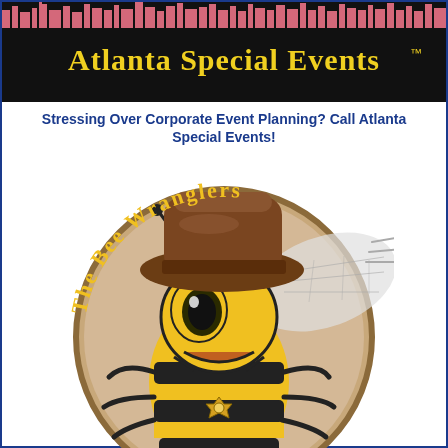[Figure (logo): Atlanta Special Events logo banner — black background with yellow text 'Atlanta Special Events' and city skyline silhouette in pink/red at top]
Stressing Over Corporate Event Planning? Call Atlanta Special Events!
[Figure (illustration): The Bee Wranglers logo — a cartoon bee wearing a brown cowboy hat with a sheriff's badge, yellow and black coloring, on a round tan/brown circular background with rope border and 'The Bee Wranglers' text arced around the top]